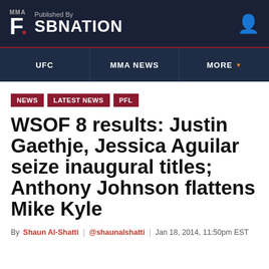MMA F. Published By SBNATION
UFC | MMA NEWS | MORE
NEWS LATEST NEWS PFL
WSOF 8 results: Justin Gaethje, Jessica Aguilar seize inaugural titles; Anthony Johnson flattens Mike Kyle
By Shaun Al-Shatti | @shaunalshatti | Jan 18, 2014, 11:50pm EST